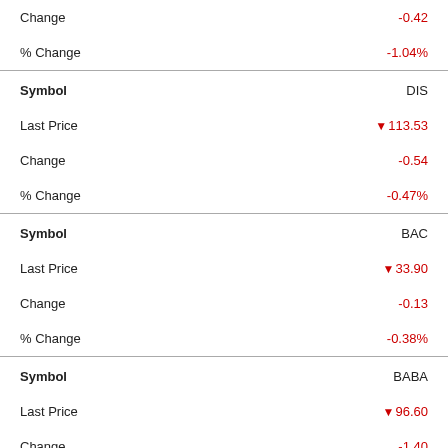| Field | Value |
| --- | --- |
| Change | -0.42 |
| % Change | -1.04% |
| Symbol | DIS |
| Last Price | ▼113.53 |
| Change | -0.54 |
| % Change | -0.47% |
| Symbol | BAC |
| Last Price | ▼33.90 |
| Change | -0.13 |
| % Change | -0.38% |
| Symbol | BABA |
| Last Price | ▼96.60 |
| Change | -1.40 |